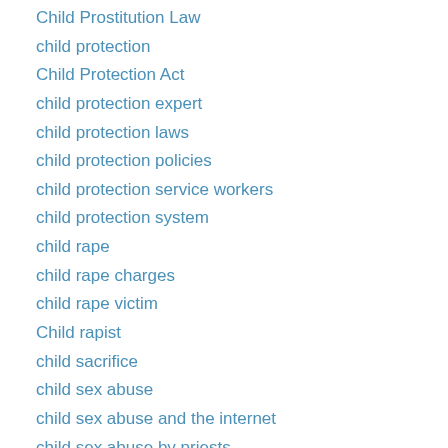Child Prostitution Law
child protection
Child Protection Act
child protection expert
child protection laws
child protection policies
child protection service workers
child protection system
child rape
child rape charges
child rape victim
Child rapist
child sacrifice
child sex abuse
child sex abuse and the internet
child sex abuse by priests
child sex abuse cases
child sex abuse charges
Child Sex Abuse Claims
child sex abuse conviction